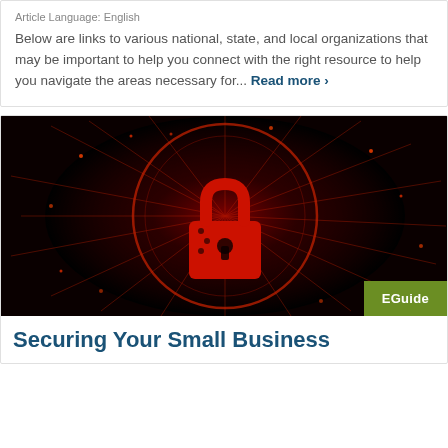Article Language: English
Below are links to various national, state, and local organizations that may be important to help you connect with the right resource to help you navigate the areas necessary for... Read more >
[Figure (photo): Dark background with glowing red cybersecurity padlock graphic, open lock with circuit board details and radiating red light beams]
EGuide
Securing Your Small Business